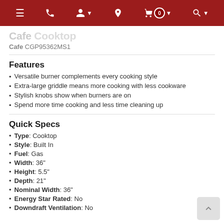Navigation bar with menu, phone, account, location, cart (0), and search icons
Cafe CGP95362MS1
Features
Versatile burner complements every cooking style
Extra-large griddle means more cooking with less cookware
Stylish knobs show when burners are on
Spend more time cooking and less time cleaning up
Quick Specs
Type: Cooktop
Style: Built In
Fuel: Gas
Width: 36"
Height: 5.5"
Depth: 21"
Nominal Width: 36"
Energy Star Rated: No
Downdraft Ventilation: No